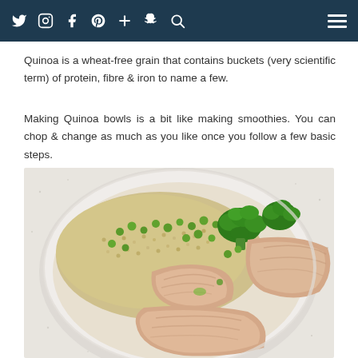Social media navigation bar with icons: Twitter, Instagram, Facebook, Pinterest, Plus, Snapchat, Search, and hamburger menu
Quinoa is a wheat-free grain that contains buckets (very scientific term) of protein, fibre & iron to name a few.
Making Quinoa bowls is a bit like making smoothies. You can chop & change as much as you like once you follow a few basic steps.
[Figure (photo): A white bowl filled with quinoa, green peas, broccoli, and chunks of tuna or chicken, viewed from above on a light speckled countertop.]